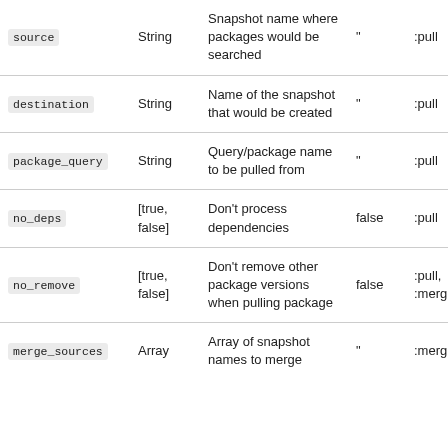| Name | Type | Description | Default | Used in |
| --- | --- | --- | --- | --- |
| source | String | Snapshot name where packages would be searched | " | :pull |
| destination | String | Name of the snapshot that would be created | " | :pull |
| package_query | String | Query/package name to be pulled from | " | :pull |
| no_deps | [true, false] | Don't process dependencies | false | :pull |
| no_remove | [true, false] | Don't remove other package versions when pulling package | false | :pull, :merg |
| merge_sources | Array | Array of snapshot names to merge | " | :merg |